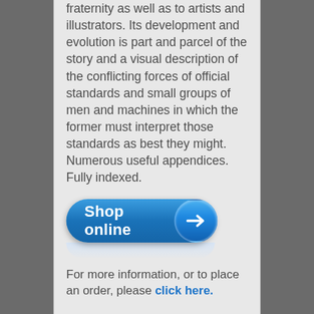fraternity as well as to artists and illustrators. Its development and evolution is part and parcel of the story and a visual description of the conflicting forces of official standards and small groups of men and machines in which the former must interpret those standards as best they might. Numerous useful appendices. Fully indexed.
[Figure (other): Blue 'Shop online' button with arrow circle icon and reflection below]
For more information, or to place an order, please click here.